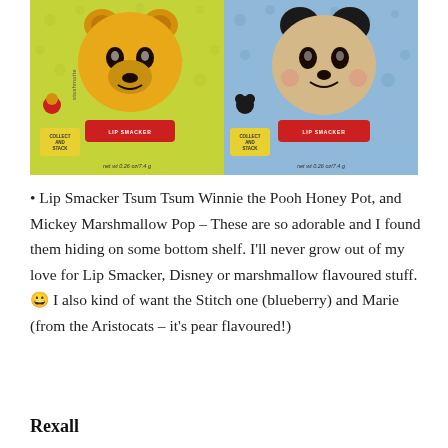[Figure (photo): Two Lip Smacker Tsum Tsum lip balm products on their packaging cards. Left: yellow/green card with Winnie the Pooh Honey Pot flavor. Right: blue card with Mickey Mouse Marshmallow Pop flavor. Both show 'Collect and Stack' badges and net wt 0.26 oz/7.4 g.]
• Lip Smacker Tsum Tsum Winnie the Pooh Honey Pot, and Mickey Marshmallow Pop – These are so adorable and I found them hiding on some bottom shelf. I'll never grow out of my love for Lip Smacker, Disney or marshmallow flavoured stuff. 😀 I also kind of want the Stitch one (blueberry) and Marie (from the Aristocats – it's pear flavoured!)
Rexall